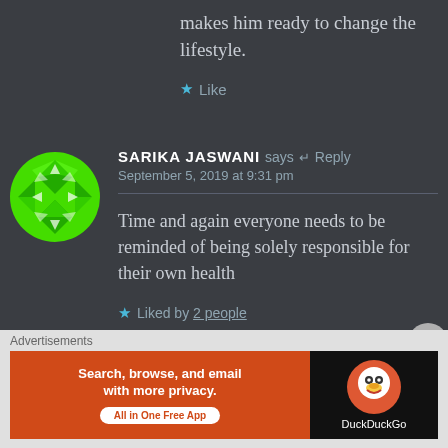makes him ready to change the lifestyle.
Like
SARIKA JASWANI says: Reply
September 5, 2019 at 9:31 pm
Time and again everyone needs to be reminded of being solely responsible for their own health
Liked by 2 people
Advertisements
[Figure (screenshot): DuckDuckGo advertisement banner: orange left section with text 'Search, browse, and email with more privacy. All in One Free App' and black right section with DuckDuckGo duck logo and brand name]